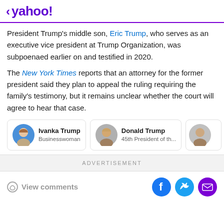< yahoo!
President Trump's middle son, Eric Trump, who serves as an executive vice president at Trump Organization, was subpoenaed earlier on and testified in 2020.
The New York Times reports that an attorney for the former president said they plan to appeal the ruling requiring the family's testimony, but it remains unclear whether the court will agree to hear that case.
[Figure (infographic): Three person cards: Ivanka Trump (Businesswoman), Donald Trump (45th President of th...), and a partially visible third card (Eric Trump, A...)]
ADVERTISEMENT
View comments
[Figure (infographic): Social sharing icons: Facebook (blue circle), Twitter (cyan circle), Mail (purple circle)]